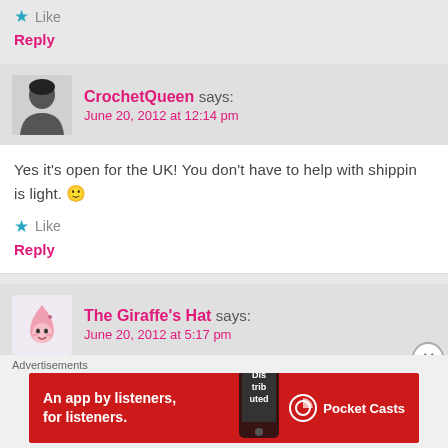★ Like
Reply
CrochetQueen says:
June 20, 2012 at 12:14 pm
Yes it's open for the UK! You don't have to help with shipping is light. 🙂
★ Like
Reply
The Giraffe's Hat says:
June 20, 2012 at 5:17 pm
Oooh yay!! Thank you! ❤
Advertisements
[Figure (infographic): Pocket Casts advertisement banner: red background, text 'An app by listeners, for listeners.' with Pocket Casts logo and phone graphic]